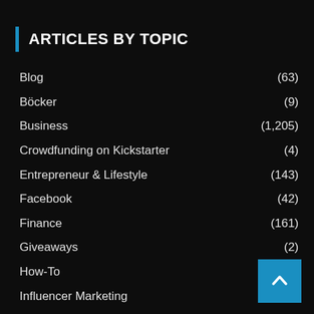ARTICLES BY TOPIC
Blog (63)
Böcker (9)
Business (1,205)
Crowdfunding on Kickstarter (4)
Entrepreneur & Lifestyle (143)
Facebook (42)
Finance (161)
Giveaways (2)
How-To (299)
Influencer Marketing (92)
Instagram
Online Marketing (308)